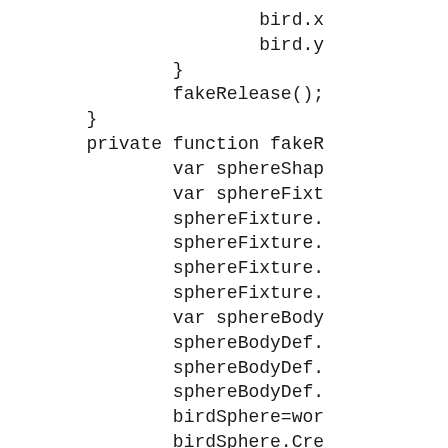bird.x
            bird.y
        }
        fakeRelease();
    }
    private function fakeR
            var sphereShap
            var sphereFixt
            sphereFixture.
            sphereFixture.
            sphereFixture.
            sphereFixture.
            var sphereBody
            sphereBodyDef.
            sphereBodyDef.
            sphereBodyDef.
            birdSphere=wor
            birdSphere.Cre
            var distanceX: